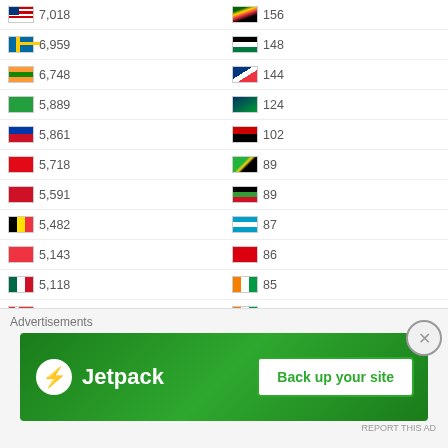| Flag | Count | Flag | Count |
| --- | --- | --- | --- |
| MY | 7,018 | ZW | 156 |
| SE | 6,959 | PS | 148 |
| IN | 6,748 | NA | 144 |
| IR | 5,889 | NA | 124 |
| PH | 5,861 | AO | 102 |
| TR | 5,718 | TZ | 89 |
| BH | 5,591 | MW | 89 |
| BE | 5,482 | MM | 87 |
| SG | 5,143 | CI | 86 |
| MX | 5,118 | CI | 85 |
| NO | 5,099 | CI | 84 |
| NL | 4,766 | GY | 83 |
| IE | 4,637 | MO | 80 |
| DK | 4,486 | VI | 79 |
| CH | 4,447 | DJ | 79 |
| IL | 4,408 | ZM | 77 |
| ZA | 4,267 | KG | 75 |
| RU | 4,169 | GE | 72 |
| CN | 4,091 | IM | 69 |
| GR | 3,694 | AU | 68 |
| JP | 3,613 | AR | 68 |
| NZ | 3,503 | XX | 67 |
| LB | 3,490 | SO | 62 |
| RO | 3,377 | FR | 55 |
| KR | 3,145 | IN | 54 |
| PL | 2,912 | KE | 54 |
Advertisements
[Figure (other): Jetpack advertisement banner: green background with Jetpack logo and 'Back up your site' button]